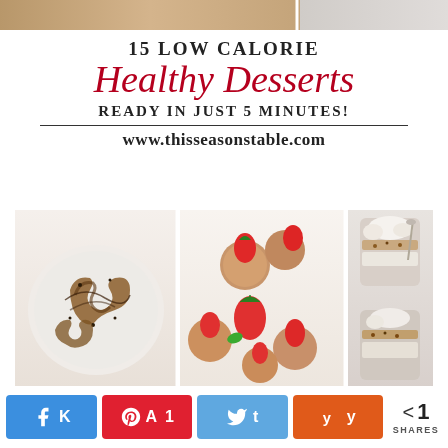[Figure (photo): Top strip: partial photos of desserts (top portion visible)]
[Figure (infographic): Infographic card: 15 Low Calorie Healthy Desserts Ready in Just 5 Minutes! www.thisseasonstable.com]
[Figure (photo): Bottom collage of three food photos: chocolate pretzels on a plate, peanut butter cookies with strawberries, and layered dessert cups]
K  A 1  t  y  < SHARES